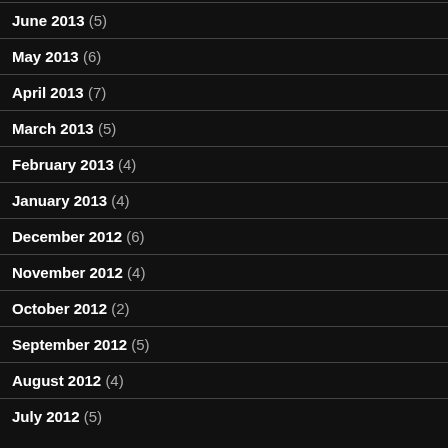June 2013 (5)
May 2013 (6)
April 2013 (7)
March 2013 (5)
February 2013 (4)
January 2013 (4)
December 2012 (6)
November 2012 (4)
October 2012 (2)
September 2012 (5)
August 2012 (4)
July 2012 (5)